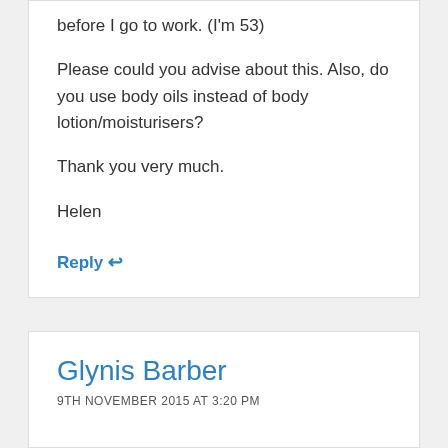before I go to work. (I'm 53)
Please could you advise about this. Also, do you use body oils instead of body lotion/moisturisers?

Thank you very much.

Helen
Reply ↩
Glynis Barber
9TH NOVEMBER 2015 AT 3:20 PM